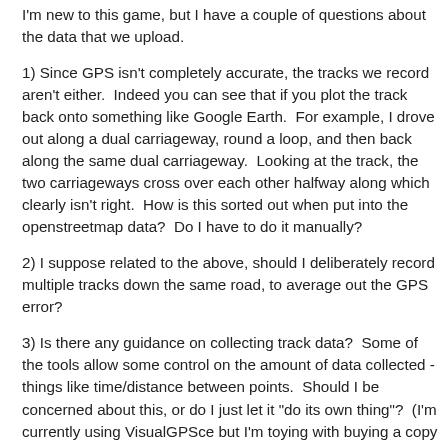I'm new to this game, but I have a couple of questions about the data that we upload.
1) Since GPS isn't completely accurate, the tracks we record aren't either.  Indeed you can see that if you plot the track back onto something like Google Earth.  For example, I drove out along a dual carriageway, round a loop, and then back along the same dual carriageway.  Looking at the track, the two carriageways cross over each other halfway along which clearly isn't right.  How is this sorted out when put into the openstreetmap data?  Do I have to do it manually?
2) I suppose related to the above, should I deliberately record multiple tracks down the same road, to average out the GPS error?
3) Is there any guidance on collecting track data?  Some of the tools allow some control on the amount of data collected - things like time/distance between points.  Should I be concerned about this, or do I just let it "do its own thing"?  (I'm currently using VisualGPSce but I'm toying with buying a copy of Beeline from the same folk.  I then munge the NMEA data to GPX using Gebabbel.  The GPS is an HP iPaq rx5930 travel companion.
4) Once I've uploaded a track, what happens then?  I think that once it appears, I go back an edit in things like street names.  Is that right?